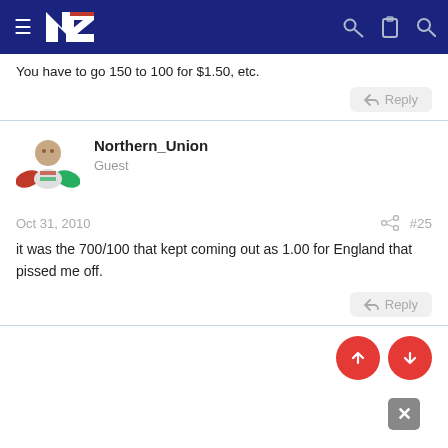NZ forum navigation bar
You have to go 150 to 100 for $1.50, etc.
Reply
Northern_Union
Guest
Oct 31, 2010   #25
it was the 700/100 that kept coming out as 1.00 for England that pissed me off.
Reply